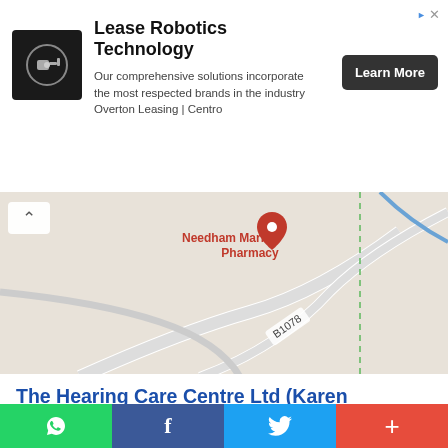[Figure (infographic): Advertisement banner for Lease Robotics Technology featuring a dark square logo with a robotic arm icon, title text, description text, and a Learn More button. Corner has ad indicator arrows.]
[Figure (map): Google Maps excerpt showing Needham Market area with B1078 road label, Needham Market Pharmacy pin marker in red, and a collapse chevron button on left.]
The Hearing Care Centre Ltd (Karen Finch RHAD FSHAA FRSA)
Barking Rd, Needham Market, Ipswich IP6 8EZ, United Kingdom
Location: (52.145019, 1.0516485)
Rating: 5/5 ★★★★★ (1) Votes
[Figure (infographic): Bottom social sharing bar with four buttons: WhatsApp (green), Facebook (dark blue), Twitter (light blue), and a plus/more button (red).]